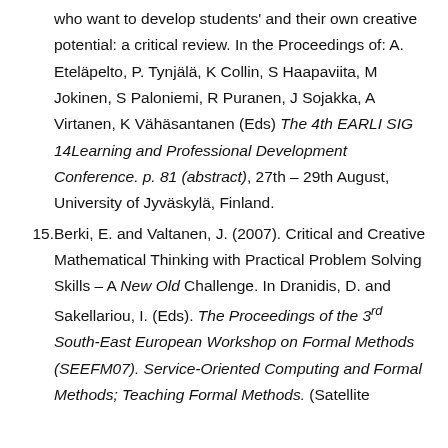who want to develop students' and their own creative potential: a critical review. In the Proceedings of: A. Eteläpelto, P. Tynjälä, K Collin, S Haapaviita, M Jokinen, S Paloniemi, R Puranen, J Sojakka, A Virtanen, K Vähäsantanen (Eds) The 4th EARLI SIG 14Learning and Professional Development Conference. p. 81 (abstract), 27th – 29th August, University of Jyväskylä, Finland.
15. Berki, E. and Valtanen, J. (2007). Critical and Creative Mathematical Thinking with Practical Problem Solving Skills – A New Old Challenge. In Dranidis, D. and Sakellariou, I. (Eds). The Proceedings of the 3rd South-East European Workshop on Formal Methods (SEEFM07). Service-Oriented Computing and Formal Methods; Teaching Formal Methods. (Satellite